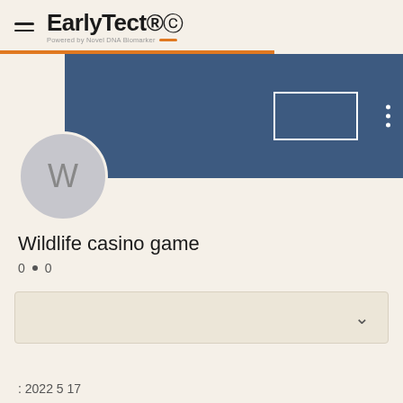EarlyTect C - Powered by Novel DNA Biomarker
[Figure (screenshot): Blue banner profile header with white rectangle placeholder and three vertical dots menu]
[Figure (illustration): Circular avatar with letter W on cream background]
Wildlife casino game
0 • 0
[Figure (screenshot): Dropdown/accordion box with chevron]
: 2022 5 17